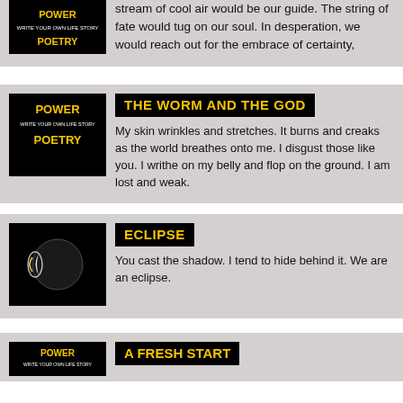[Figure (logo): Power Poetry logo - black background with yellow/white text]
stream of cool air would be our guide.  The string of fate would tug on our soul.   In desperation, we would reach out for the embrace of certainty,
[Figure (logo): Power Poetry logo - POWER WRITE YOUR OWN LIFE STORY POETRY]
THE WORM AND THE GOD
My skin wrinkles and stretches. It burns and creaks as the world breathes onto me.   I disgust those like you.   I writhe on my belly and flop on the ground.   I am lost and weak.
[Figure (photo): Solar eclipse photo - dark circle with bright crescent light]
ECLIPSE
You cast the shadow. I tend to hide behind it. We are an eclipse.
[Figure (logo): Power Poetry logo partially visible at bottom]
A FRESH START